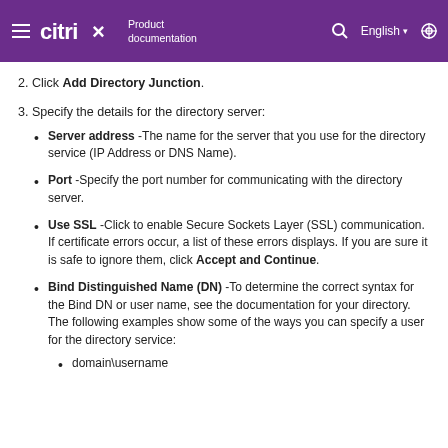Citrix Product documentation | English
2. Click Add Directory Junction.
3. Specify the details for the directory server:
Server address -The name for the server that you use for the directory service (IP Address or DNS Name).
Port -Specify the port number for communicating with the directory server.
Use SSL -Click to enable Secure Sockets Layer (SSL) communication. If certificate errors occur, a list of these errors displays. If you are sure it is safe to ignore them, click Accept and Continue.
Bind Distinguished Name (DN) -To determine the correct syntax for the Bind DN or user name, see the documentation for your directory. The following examples show some of the ways you can specify a user for the directory service:
domain\username